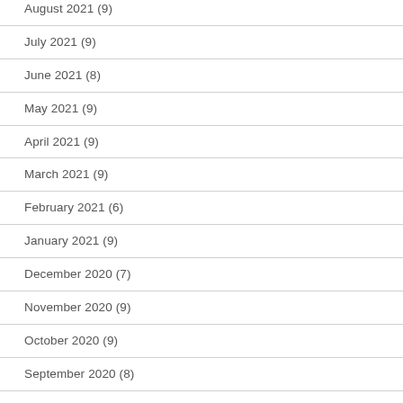August 2021 (9)
July 2021 (9)
June 2021 (8)
May 2021 (9)
April 2021 (9)
March 2021 (9)
February 2021 (6)
January 2021 (9)
December 2020 (7)
November 2020 (9)
October 2020 (9)
September 2020 (8)
August 2020 (4)